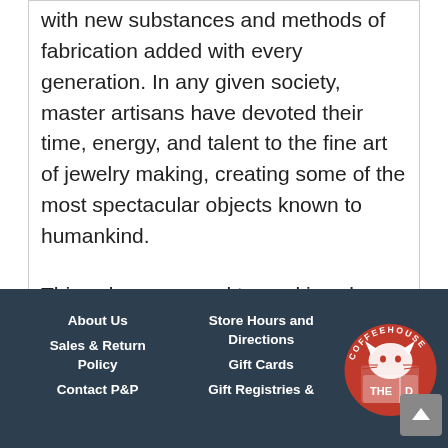with new substances and methods of fabrication added with every generation. In any given society, master artisans have devoted their time, energy, and talent to the fine art of jewelry making, creating some of the most spectacular objects known to humankind.
This volume, geared toward jewelry makers, scholars, scientists, students, and fashionistas alike, begins with a lively introduction that offers a cultural
About Us | Sales & Return Policy | Contact P&P | Store Hours and Directions | Gift Cards | Gift Registries &
[Figure (logo): Coffeehouse Press logo — red illustration of a cat reading a book with text THE D visible, circular text COFFEEHOUSE around the top]